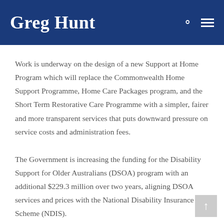Greg Hunt
Work is underway on the design of a new Support at Home Program which will replace the Commonwealth Home Support Programme, Home Care Packages program, and the Short Term Restorative Care Programme with a simpler, fairer and more transparent services that puts downward pressure on service costs and administration fees.
The Government is increasing the funding for the Disability Support for Older Australians (DSOA) program with an additional $229.3 million over two years, aligning DSOA services and prices with the National Disability Insurance Scheme (NDIS).